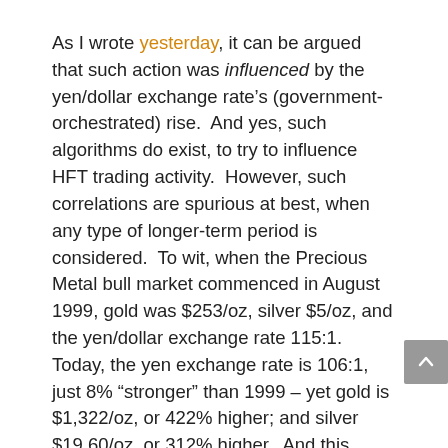As I wrote yesterday, it can be argued that such action was influenced by the yen/dollar exchange rate's (government-orchestrated) rise.  And yes, such algorithms do exist, to try to influence HFT trading activity.  However, such correlations are spurious at best, when any type of longer-term period is considered.  To wit, when the Precious Metal bull market commenced in August 1999, gold was $253/oz, silver $5/oz, and the yen/dollar exchange rate 115:1.  Today, the yen exchange rate is 106:1, just 8% “stronger” than 1999 – yet gold is $1,322/oz, or 422% higher; and silver $19.60/oz, or 312% higher.  And this, despite the Bank of Japan maniacally trying to destroy the Yen, and every major Western Central bank trying to destroy gold and silver.
Regarding the Yen, they’ve already done so in real terms; and shortly, will do so in nominal terms as well.  As for Precious Metals, not only have the Cartel failed